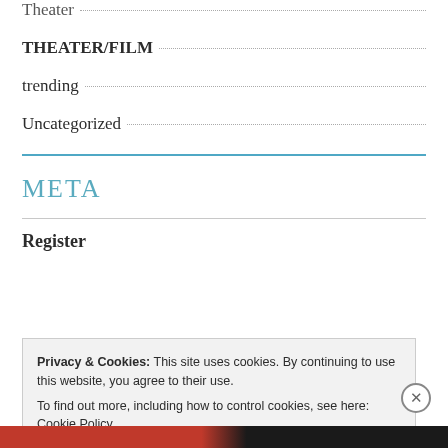Theater
THEATER/FILM
trending
Uncategorized
META
Register
Privacy & Cookies: This site uses cookies. By continuing to use this website, you agree to their use.
To find out more, including how to control cookies, see here: Cookie Policy
Close and accept